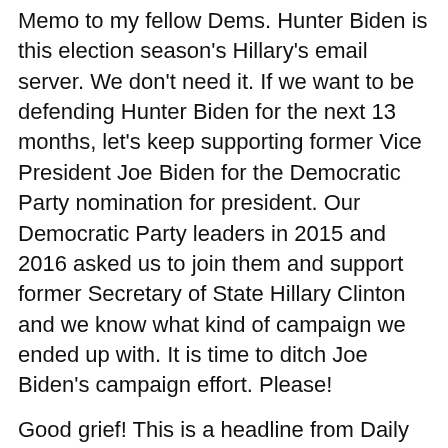Memo to my fellow Dems. Hunter Biden is this election season's Hillary's email server. We don't need it. If we want to be defending Hunter Biden for the next 13 months, let's keep supporting former Vice President Joe Biden for the Democratic Party nomination for president. Our Democratic Party leaders in 2015 and 2016 asked us to join them and support former Secretary of State Hillary Clinton and we know what kind of campaign we ended up with. It is time to ditch Joe Biden's campaign effort. Please!
Good grief! This is a headline from Daily Beast yesterday about U.S. House Speaker Nancy Pelosi.
What to Wear When You’re Impeaching the President
Sexist piece of sh_t headline. I didn’t even bother to read the story.